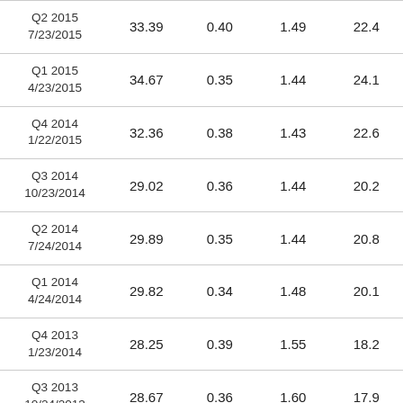| Quarter / Date | Col1 | Col2 | Col3 | Col4 |
| --- | --- | --- | --- | --- |
| Q2 2015
7/23/2015 | 33.39 | 0.40 | 1.49 | 22.4 |
| Q1 2015
4/23/2015 | 34.67 | 0.35 | 1.44 | 24.1 |
| Q4 2014
1/22/2015 | 32.36 | 0.38 | 1.43 | 22.6 |
| Q3 2014
10/23/2014 | 29.02 | 0.36 | 1.44 | 20.2 |
| Q2 2014
7/24/2014 | 29.89 | 0.35 | 1.44 | 20.8 |
| Q1 2014
4/24/2014 | 29.82 | 0.34 | 1.48 | 20.1 |
| Q4 2013
1/23/2014 | 28.25 | 0.39 | 1.55 | 18.2 |
| Q3 2013
10/24/2013 | 28.67 | 0.36 | 1.60 | 17.9 |
| Q2 2013
7/25/2013 | 30.09 | 0.39 | 1.78 | 16.9 |